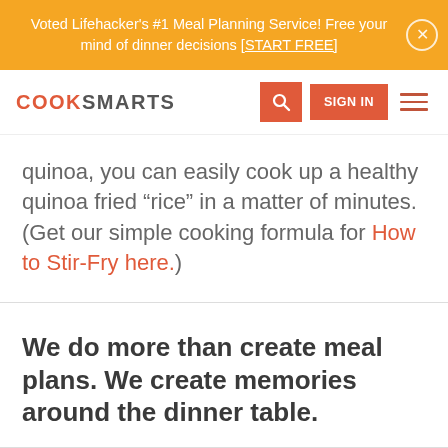Voted Lifehacker's #1 Meal Planning Service! Free your mind of dinner decisions [START FREE]
[Figure (screenshot): CookSmarts website navigation bar with logo, search button, Sign In button, and hamburger menu]
quinoa, you can easily cook up a healthy quinoa fried “rice” in a matter of minutes. (Get our simple cooking formula for How to Stir-Fry here.)
We do more than create meal plans. We create memories around the dinner table.